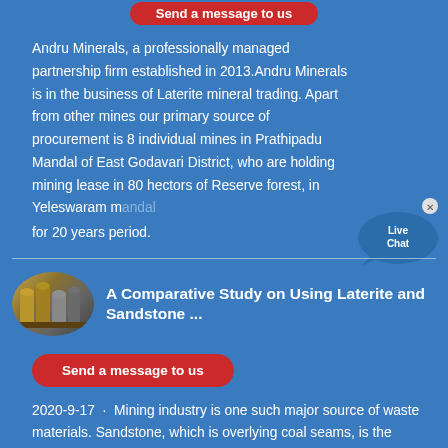[Figure (other): Partially visible red rounded button labeled 'Send a message to us' at top of page]
Andru Minerals, a professionally managed partnership firm established in 2013.Andru Minerals is in the business of Laterite mineral trading. Apart from other mines our primary source of procurement is 8 individual mines in Prathipadu Mandal of East Godavari District, who are holding mining lease in 80 hectors of Reserve forest, in Yeleswaram mandal for 20 years period.
[Figure (other): Live Chat widget bubble with blue chat balloon and 'Live Chat' label, with close (x) button]
[Figure (photo): Circular thumbnail photo of industrial mining or storage equipment, silos or tanks in yellowish-brown tones]
A Comparative Study on Using Laterite and Sandstone ...
[Figure (other): Red rounded button labeled 'Send a message to us']
2020-9-17 · Mining industry is one such major source of waste materials. Sandstone, which is overlying coal seams, is the largest